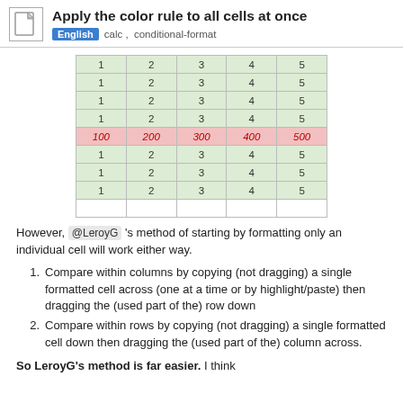Apply the color rule to all cells at once — English, calc, conditional-format
[Figure (screenshot): Spreadsheet showing columns 1-5 across 9 rows: rows 1-4 and 6-8 show values 1,2,3,4,5 with green background; row 5 shows 100,200,300,400,500 with pink background; last row is empty.]
However, @LeroyG 's method of starting by formatting only an individual cell will work either way.
Compare within columns by copying (not dragging) a single formatted cell across (one at a time or by highlight/paste) then dragging the (used part of the) row down
Compare within rows by copying (not dragging) a single formatted cell down then dragging the (used part of the) column across.
So LeroyG's method is far easier. I think